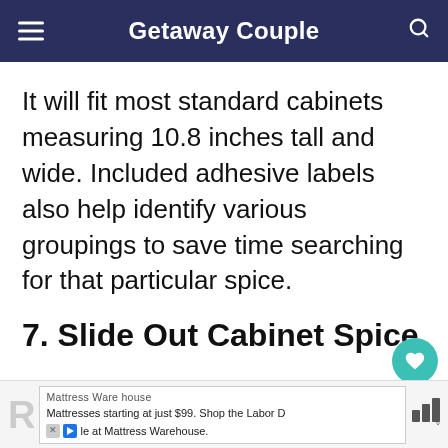Getaway Couple
It will fit most standard cabinets measuring 10.8 inches tall and wide. Included adhesive labels also help identify various groupings to save time searching for that particular spice.
7. Slide Out Cabinet Spice
Mattress Warehouse
Mattresses starting at just $99. Shop the Labor D le at Mattress Warehouse.